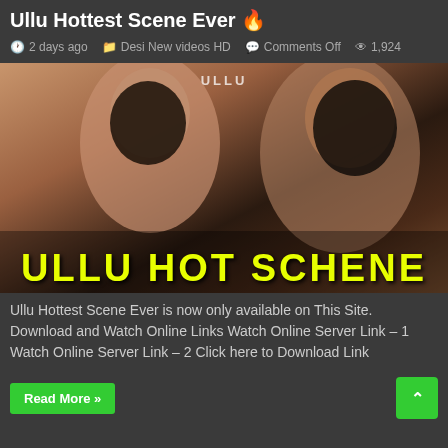Ullu Hottest Scene Ever 🔥
2 days ago  Desi New videos HD  Comments Off  1,924
[Figure (photo): Thumbnail image with text overlay reading ULLU HOT SCHENE in yellow, showing two women, with ULLU watermark at top]
Ullu Hottest Scene Ever is now only available on This Site. Download and Watch Online Links Watch Online Server Link – 1 Watch Online Server Link – 2 Click here to Download Link
Read More »